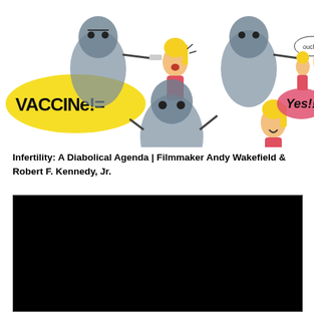[Figure (illustration): A cartoon comic strip showing a monster/creature character giving injections to a blonde girl character. Multiple panels show the interaction. A yellow speech bubble says 'VACCINe!=' and a pink speech bubble shows 'Yes!!']
Infertility: A Diabolical Agenda | Filmmaker Andy Wakefield & Robert F. Kennedy, Jr.
[Figure (screenshot): A black video player rectangle, representing an embedded video.]